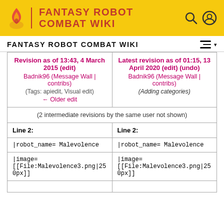FANTASY ROBOT COMBAT WIKI
FANTASY ROBOT COMBAT WIKI
| Revision as of 13:43, 4 March 2015 (edit) | Latest revision as of 01:15, 13 April 2020 (edit) (undo) |
| --- | --- |
| Badnik96 (Message Wall | contribs)
(Tags: apiedit, Visual edit)
← Older edit | Badnik96 (Message Wall | contribs)
(Adding categories) |
| (2 intermediate revisions by the same user not shown) |  |
| Line 2: | Line 2: |
| |robot_name= Malevolence | |robot_name= Malevolence |
| |image=
[[File:Malevolence3.png|250px]] | |image=
[[File:Malevolence3.png|250px]] |